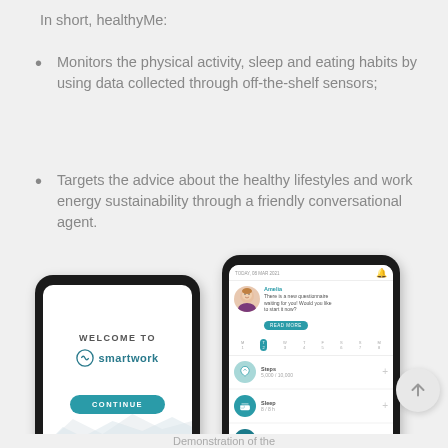In short, healthyMe:
Monitors the physical activity, sleep and eating habits by using data collected through off-the-shelf sensors;
Targets the advice about the healthy lifestyles and work energy sustainability through a friendly conversational agent.
[Figure (screenshot): Two smartphone screenshots of the healthyMe/smartwork app. Left phone shows a welcome screen with 'WELCOME TO smartwork' logo and a CONTINUE button. Right phone shows the app dashboard with a conversational agent (Amelia), a weekly calendar bar, and metrics for Steps (5,000/10,000), Sleep (8/8h), and Nutrition (500/1,000 kcal).]
Demonstration of the